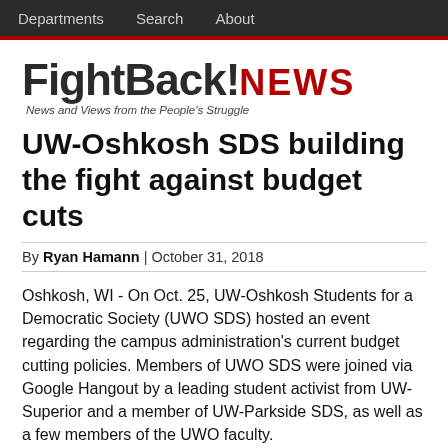Departments   Search   About
[Figure (logo): FightBack! NEWS logo with tagline 'News and Views from the People's Struggle']
UW-Oshkosh SDS building the fight against budget cuts
By Ryan Hamann | October 31, 2018
Oshkosh, WI - On Oct. 25, UW-Oshkosh Students for a Democratic Society (UWO SDS) hosted an event regarding the campus administration's current budget cutting policies. Members of UWO SDS were joined via Google Hangout by a leading student activist from UW-Superior and a member of UW-Parkside SDS, as well as a few members of the UWO faculty.
SDS hopes that this event be the first of many such events aimed at raising awareness among the student